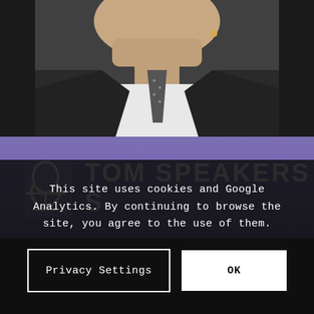[Figure (photo): Close-up photo of a man in a dark suit and tie with a microphone earpiece, speaking on stage. Below him is a purple banner with a microphone icon and text 'TOM SPEAKERS S...' partially visible. In the lower portion, another person is visible in the background on a dark stage.]
This site uses cookies and Google Analytics. By continuing to browse the site, you agree to the use of them.
Privacy Settings
OK